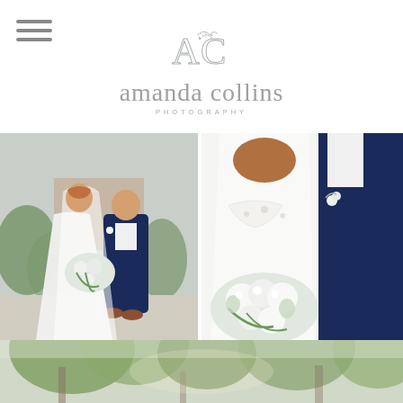[Figure (logo): Amanda Collins Photography logo with AC monogram and floral script lettering]
[Figure (photo): Wedding photo - bride in white dress with veil holding floral bouquet standing next to groom in navy blue suit, outdoor setting with brick building and greenery]
[Figure (photo): Wedding photo close-up - bride's back in lace dress with veil, groom in navy blue suit with white boutonniere, holding white and green floral bouquet]
[Figure (photo): Partial wedding photo showing outdoor greenery and trees, bottom of page]